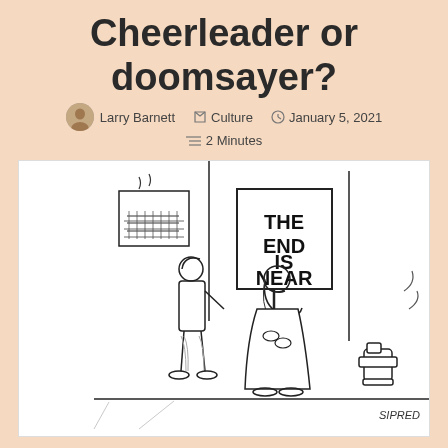Cheerleader or doomsayer?
Larry Barnett   Culture   January 5, 2021   2 Minutes
[Figure (illustration): A New Yorker-style cartoon by Sipred showing a street scene. A person in a robe holds a sign reading 'THE END IS NEAR' while another person in regular clothes stands nearby looking at them. A fire hydrant is visible on the right. Buildings are in the background.]